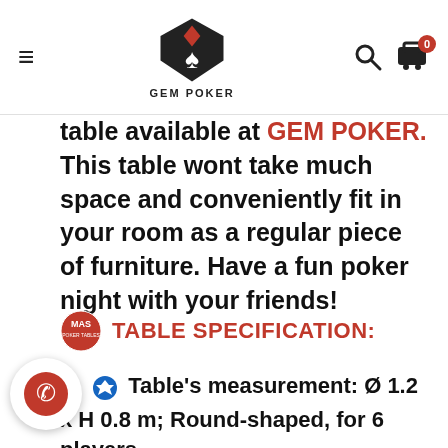GEM POKER (logo/nav header)
table available at GEM POKER. This table wont take much space and conveniently fit in your room as a regular piece of furniture. Have a fun poker night with your friends!
TABLE SPECIFICATION:
Table's measurement: Ø 1.2 x H 0.8 m; Round-shaped, for 6 players.
Parts included: 6 brass cup holders; Racetrack design